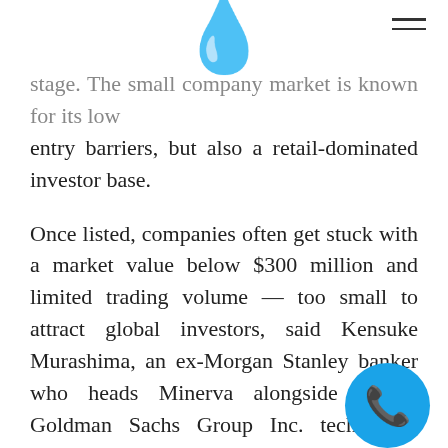stage. The small company market is known for its low entry barriers, but also a retail-dominated investor base.
Once listed, companies often get stuck with a market value below $300 million and limited trading volume — too small to attract global investors, said Kensuke Murashima, an ex-Morgan Stanley banker who heads Minerva alongside former Goldman Sachs Group Inc. technology deal-maker Kei Nagasawa.
The duo speak from experience. Nagasawa became chief financial officer of Mercari Inc., Japan's first unicorn. At Morgan Stanley, Murashima advised on landmark mergers and IPOs, including those of Line